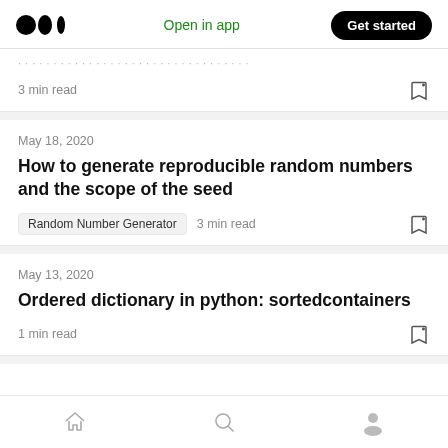Medium logo | Open in app | Get started
3 min read
May 18, 2020
How to generate reproducible random numbers and the scope of the seed
Random Number Generator  3 min read
May 13, 2020
Ordered dictionary in python: sortedcontainers
1 min read